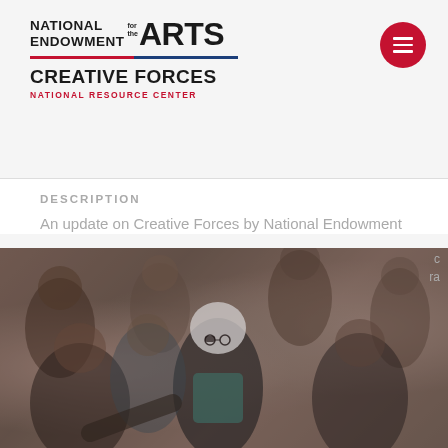NATIONAL ENDOWMENT for the ARTS — CREATIVE FORCES NATIONAL RESOURCE CENTER
DESCRIPTION
An update on Creative Forces by National Endowment
[Figure (photo): Audience members seated at an event, focus on a white-haired woman with glasses wearing a teal top, surrounded by other attendees, image has a dark overlay tint]